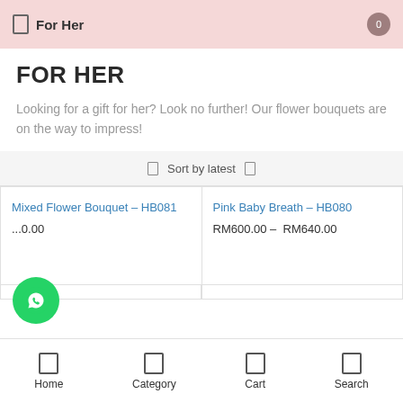For Her
FOR HER
Looking for a gift for her? Look no further! Our flower bouquets are on the way to impress!
Sort by latest
Mixed Flower Bouquet – HB081
...0.00
Pink Baby Breath – HB080
RM600.00 – RM640.00
Home  Category  Cart  Search